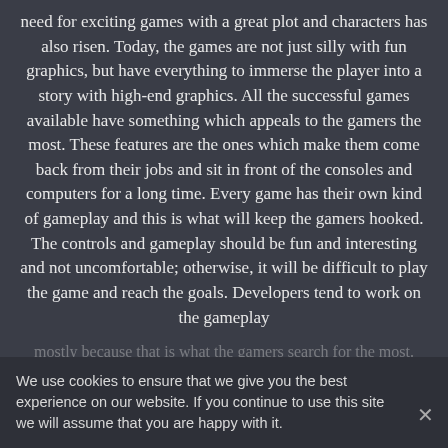need for exciting games with a great plot and characters has also risen. Today, the games are not just silly with fun graphics, but have everything to immerse the player into a story with high-end graphics. All the successful games available have something which appeals to the gamers the most. These features are the ones which make them come back from their jobs and sit in front of the consoles and computers for a long time. Every game has their own kind of gameplay and this is what will keep the gamers hooked. The controls and gameplay should be fun and interesting and not uncomfortable; otherwise, it will be difficult to play the game and reach the goals. Developers tend to work on the gameplay
mostly because that is what the gamers search for the most. Types of challenges, campaigns, multiplayer modes, controls, etc. help with the gameplay and these decide if the game will be a hit or a miss.
We use cookies to ensure that we give you the best experience on our website. If you continue to use this site we will assume that you are happy with it.